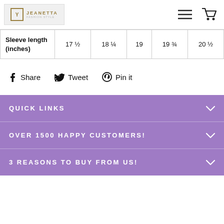JEANETTA [logo header with hamburger menu and cart icons]
| Sleeve length (inches) | 17 ½ | 18 ¼ | 19 | 19 ¾ | 20 ½ |
| --- | --- | --- | --- | --- | --- |
Share  Tweet  Pin it
QUICK LINKS
OVER 1500 HAPPY CUSTOMERS!
3 REASONS TO BUY FROM US!